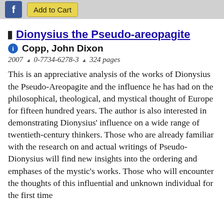[Figure (screenshot): Top bar with Facebook icon button and 'Add to Cart' button on grey background]
Dionysius the Pseudo-areopagite
Copp, John Dixon
2007 ^ 0-7734-6278-3 ^ 324 pages
This is an appreciative analysis of the works of Dionysius the Pseudo-Areopagite and the influence he has had on the philosophical, theological, and mystical thought of Europe for fifteen hundred years. The author is also interested in demonstrating Dionysius' influence on a wide range of twentieth-century thinkers. Those who are already familiar with the research on and actual writings of Pseudo-Dionysius will find new insights into the ordering and emphases of the mystic's works. Those who will encounter the thoughts of this influential and unknown individual for the first time